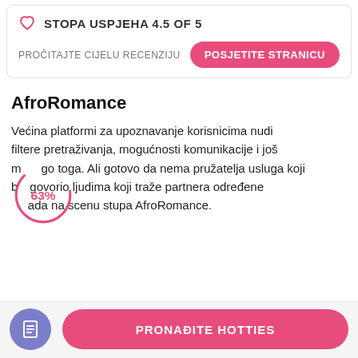STOPA USPJEHA 4.5 of 5
PROČITAJTE CIJELU RECENZIJU
POSJETITE STRANICU
AfroRomance
Većina platformi za upoznavanje korisnicima nudi filtere pretraživanja, mogućnosti komunikacije i još m...go toga. Ali gotovo da nema pružatelja usluga koji b...govorio ljudima koji traže partnera određene ...ada na scenu stupa AfroRomance.
PRONAĐITE HOTTIES